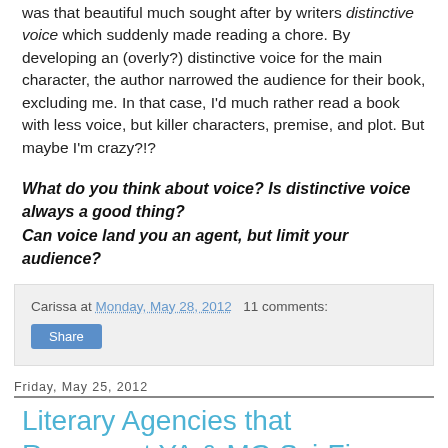was that beautiful much sought after by writers distinctive voice which suddenly made reading a chore. By developing an (overly?) distinctive voice for the main character, the author narrowed the audience for their book, excluding me. In that case, I'd much rather read a book with less voice, but killer characters, premise, and plot. But maybe I'm crazy?!?
What do you think about voice? Is distinctive voice always a good thing?
Can voice land you an agent, but limit your audience?
Carissa at Monday, May 28, 2012   11 comments:
Share
Friday, May 25, 2012
Literary Agencies that Represent YA & MG Sci-Fi, Fantasy
Looking for a lit agent can be
[Figure (photo): Dark background with a yellow/golden egg-shaped object]